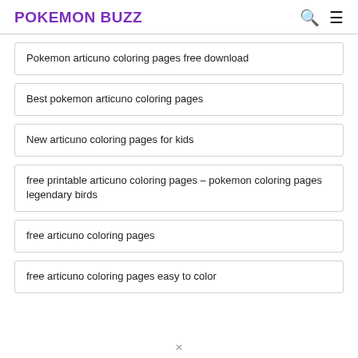POKEMON BUZZ
Pokemon articuno coloring pages free download
Best pokemon articuno coloring pages
New articuno coloring pages for kids
free printable articuno coloring pages – pokemon coloring pages legendary birds
free articuno coloring pages
free articuno coloring pages easy to color